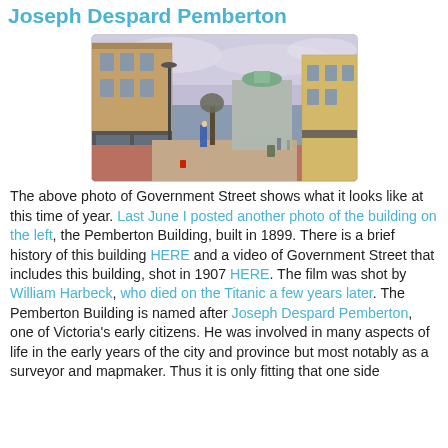Joseph Despard Pemberton
[Figure (photo): Street-level photo of Government Street showing historic brick buildings on the left, a pedestrian walkway, trees, and buildings receding into the distance under an overcast sky.]
The above photo of Government Street shows what it looks like at this time of year. Last June I posted another photo of the building on the left, the Pemberton Building, built in 1899. There is a brief history of this building HERE and a video of Government Street that includes this building, shot in 1907 HERE. The film was shot by William Harbeck, who died on the Titanic a few years later. The Pemberton Building is named after Joseph Despard Pemberton, one of Victoria's early citizens. He was involved in many aspects of life in the early years of the city and province but most notably as a surveyor and mapmaker. Thus it is only fitting that one side